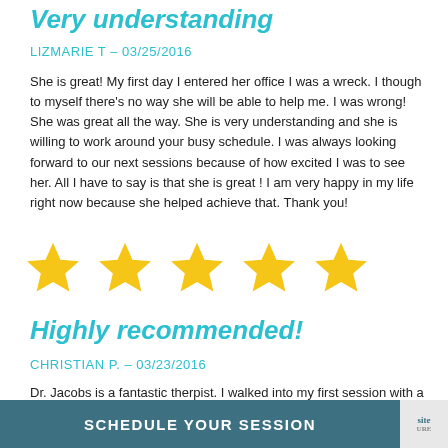Very understanding
LIZMARIE T – 03/25/2016
She is great! My first day I entered her office I was a wreck. I though to myself there's no way she will be able to help me. I was wrong! She was great all the way. She is very understanding and she is willing to work around your busy schedule. I was always looking forward to our next sessions because of how excited I was to see her. All I have to say is that she is great ! I am very happy in my life right now because she helped achieve that. Thank you!
[Figure (other): Five gold star rating]
Highly recommended!
CHRISTIAN P. – 03/23/2016
Dr. Jacobs is a fantastic therpist. I walked into my first session with a real belief that I was damaged, and was facing a lot of work to get back on track. A more clear headed, and after our a
SCHEDULE YOUR SESSION